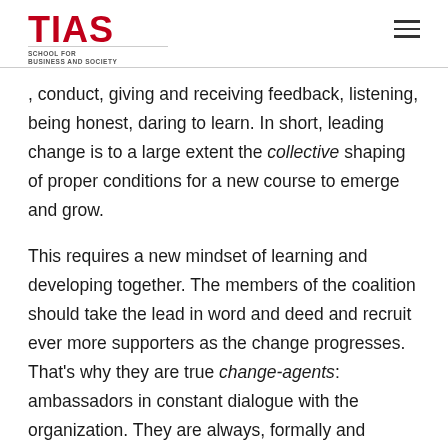TIAS — SCHOOL FOR BUSINESS AND SOCIETY
, conduct, giving and receiving feedback, listening, being honest, daring to learn. In short, leading change is to a large extent the collective shaping of proper conditions for a new course to emerge and grow.
This requires a new mindset of learning and developing together. The members of the coalition should take the lead in word and deed and recruit ever more supporters as the change progresses. That's why they are true change-agents: ambassadors in constant dialogue with the organization. They are always, formally and informally, fostering the change process and they always communicate about it in an open and honest way. Good examples of the desired new behavior have to be widely displayed during briefings. This leads to